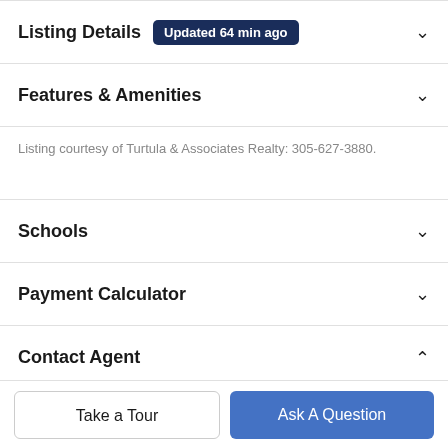Listing Details Updated 64 min ago
Features & Amenities
Listing courtesy of Turtula & Associates Realty: 305-627-3880.
Schools
Payment Calculator
Contact Agent
[Figure (photo): Partial photo of a real estate agent (woman with dark hair), cropped at bottom of page]
Lizette Rubinno
Take a Tour
Ask A Question